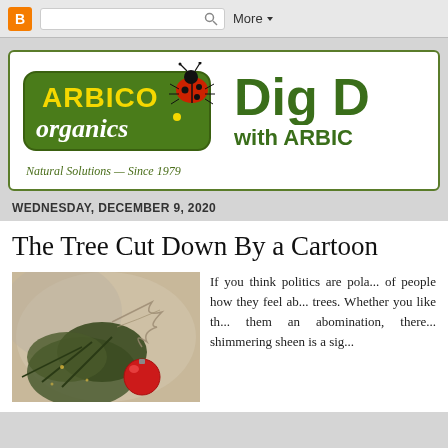[Figure (screenshot): Browser chrome bar with Blogger orange icon, search box, and 'More' dropdown button]
[Figure (logo): ARBICO Organics logo - green rounded rectangle with yellow 'ARBICO' text, white script 'organics', ladybug illustration on top right]
Natural Solutions — Since 1979
Dig D... with ARBIC...
WEDNESDAY, DECEMBER 9, 2020
The Tree Cut Down By a Cartoon...
[Figure (photo): Christmas tree branch with red ornament and decorative feathers/tinsel on blurred background]
If you think politics are pola... of people how they feel ab... trees. Whether you like th... them an abomination, there... shimmering sheen is a sig...